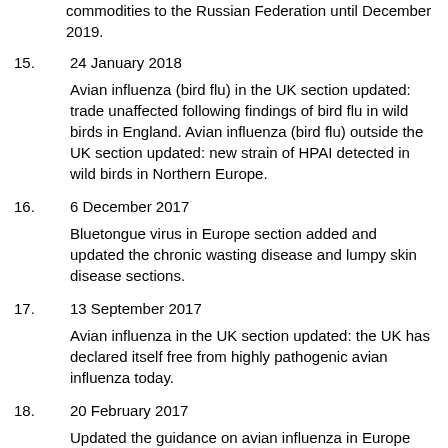commodities to the Russian Federation until December 2019.
15. 24 January 2018
Avian influenza (bird flu) in the UK section updated: trade unaffected following findings of bird flu in wild birds in England. Avian influenza (bird flu) outside the UK section updated: new strain of HPAI detected in wild birds in Northern Europe.
16. 6 December 2017
Bluetongue virus in Europe section added and updated the chronic wasting disease and lumpy skin disease sections.
17. 13 September 2017
Avian influenza in the UK section updated: the UK has declared itself free from highly pathogenic avian influenza today.
18. 20 February 2017
Updated the guidance on avian influenza in Europe and the UK, lumpy skin disease in Europe, and restrictions on trade of agricultural commodities to the Russian Federation.
19. 17 December 2016